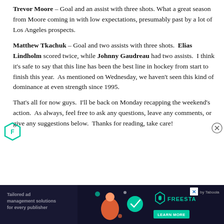Trevor Moore – Goal and an assist with three shots.  What a great season from Moore coming in with low expectations, presumably past by a lot of Los Angeles prospects.
Matthew Tkachuk – Goal and two assists with three shots.  Elias Lindholm scored twice, while Johnny Gaudreau had two assists.  I think it's safe to say that this line has been the best line in hockey from start to finish this year.  As mentioned on Wednesday, we haven't seen this kind of dominance at even strength since 1995.
That's all for now guys.  I'll be back on Monday recapping the weekend's action.  As always, feel free to ask any questions, leave any comments, or give any suggestions below.  Thanks for reading, take care!
[Figure (screenshot): Advertisement banner: dark navy background with text 'Tailored ad management solutions for every publisher', FREESTA logo in teal, X close button, Taboola branding, and a LEARN MORE button.]